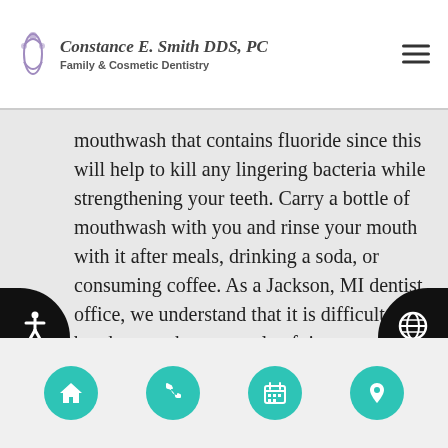Constance E. Smith DDS, PC — Family & Cosmetic Dentistry
mouthwash that contains fluoride since this will help to kill any lingering bacteria while strengthening your teeth. Carry a bottle of mouthwash with you and rinse your mouth with it after meals, drinking a soda, or consuming coffee. As a Jackson, MI dentist office, we understand that it is difficult to brush more than a couple of times per day. Rinsing your mouth, however, is relatively easy, and everyone has time for it. Taking this simple step can help to reduce your risk of cavities and gum disease.
Navigation icons: home, phone, calendar, location